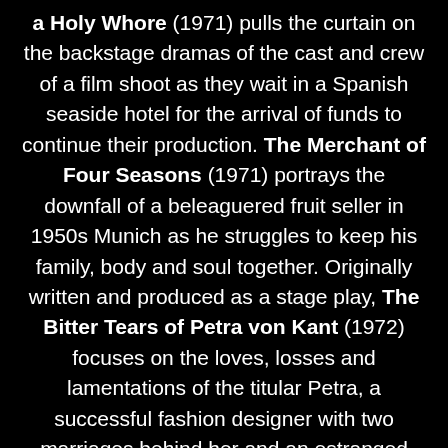a Holy Whore (1971) pulls the curtain on the backstage dramas of the cast and crew of a film shoot as they wait in a Spanish seaside hotel for the arrival of funds to continue their production. The Merchant of Four Seasons (1971) portrays the downfall of a beleaguered fruit seller in 1950s Munich as he struggles to keep his family, body and soul together. Originally written and produced as a stage play, The Bitter Tears of Petra von Kant (1972) focuses on the loves, losses and lamentations of the titular Petra, a successful fashion designer with two marriages behind her and an estranged daughter. The Ulli Lommel-directed Tenderness of the Wolves (1973) sees Fassbinder adopting the role of producer in a bleak tale based on the German serial killer Fritz